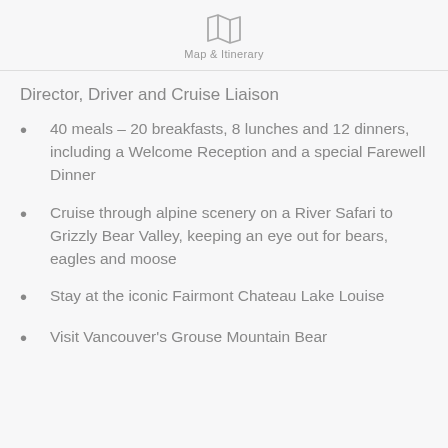Map & Itinerary
Director, Driver and Cruise Liaison
40 meals – 20 breakfasts, 8 lunches and 12 dinners, including a Welcome Reception and a special Farewell Dinner
Cruise through alpine scenery on a River Safari to Grizzly Bear Valley, keeping an eye out for bears, eagles and moose
Stay at the iconic Fairmont Chateau Lake Louise
Visit Vancouver's Grouse Mountain Bear